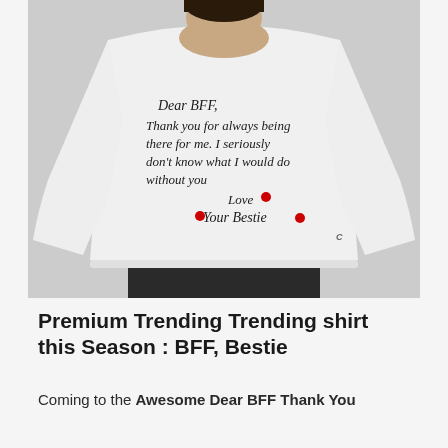[Figure (photo): A woman wearing a white Champion crewneck sweatshirt with cursive text reading 'Dear BFF, Thank you for always being there for me. I seriously don't know what I would do without you Love, Your Bestie' with red heart accents.]
Premium Trending Trending shirt this Season : BFF, Bestie
Coming to the Awesome Dear BFF Thank You For Always Being There, Love Your Bestie shirt